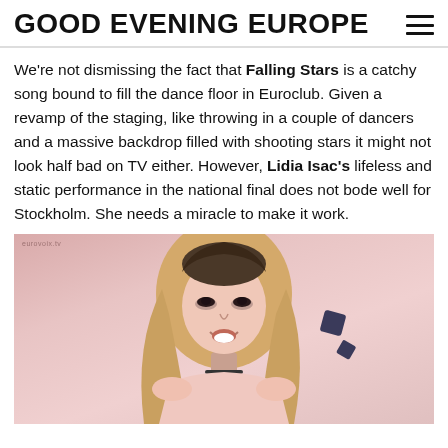GOOD EVENING EUROPE
We're not dismissing the fact that Falling Stars is a catchy song bound to fill the dance floor in Euroclub. Given a revamp of the staging, like throwing in a couple of dancers and a massive backdrop filled with shooting stars it might not look half bad on TV either. However, Lidia Isac's lifeless and static performance in the national final does not bode well for Stockholm. She needs a miracle to make it work.
[Figure (photo): Photo of Lidia Isac, a young blonde woman smiling, against a pink background with small dark star shapes floating to her right. Watermark reads 'eurovoix.tv' in upper left.]